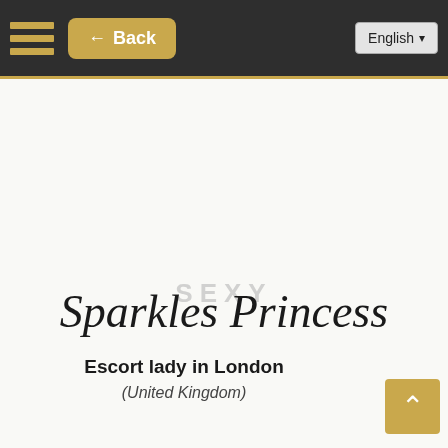← Back | English
[Figure (logo): Escort Galleries - Logo (broken image placeholder with alt text)]
[Figure (illustration): Favourites icon (broken image placeholder)]
SEXY
Sparkles Princess
Escort lady in London
(United Kingdom)